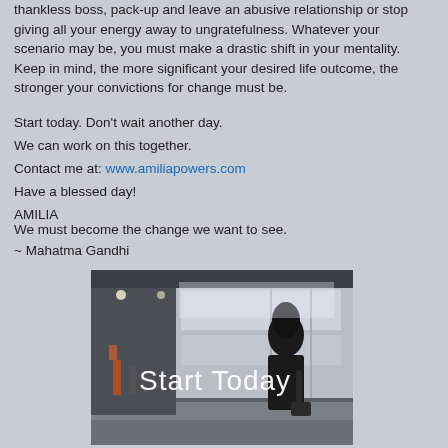thankless boss, pack-up and leave an abusive relationship or stop giving all your energy away to ungratefulness. Whatever your scenario may be, you must make a drastic shift in your mentality. Keep in mind, the more significant your desired life outcome, the stronger your convictions for change must be.
Start today. Don't wait another day.
We can work on this together.
Contact me at: www.amiliapowers.com
Have a blessed day!
AMILIA
We must become the change we want to see.
~ Mahatma Gandhi
[Figure (photo): A woman standing on a train platform next to a train, viewed from behind, with the text 'Start Today' overlaid in white.]